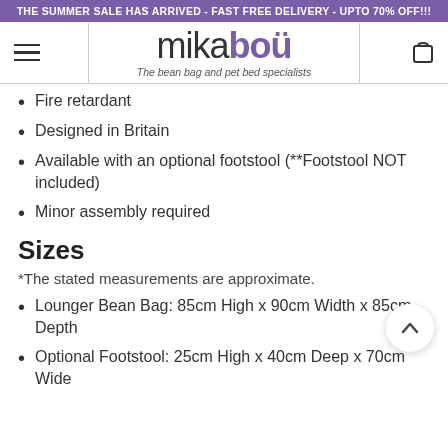THE SUMMER SALE HAS ARRIVED - FAST FREE DELIVERY - UPTO 70% OFF!!!
[Figure (logo): Mikabou logo with text 'mikabou' and tagline 'The bean bag and pet bed specialists']
Fire retardant
Designed in Britain
Available with an optional footstool (**Footstool NOT included)
Minor assembly required
Sizes
*The stated measurements are approximate.
Lounger Bean Bag: 85cm High x 90cm Width x 85cm Depth
Optional Footstool: 25cm High x 40cm Deep x 70cm Wide